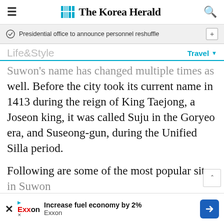The Korea Herald
Presidential office to announce personnel reshuffle
Life&Style  Travel
Suwon's name has changed multiple times as well. Before the city took its current name in 1413 during the reign of King Taejong, a Joseon king, it was called Suju in the Goryeo era, and Suseong-gun, during the Unified Silla period.
Following are some of the most popular sites in Suwon
Increase fuel economy by 2%  Exxon